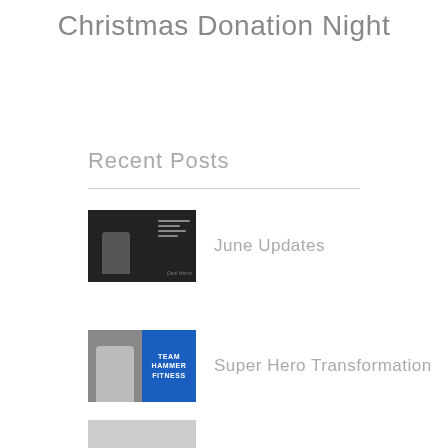Christmas Donation Night
Recent Posts
June Updates
Super Hero Transformation